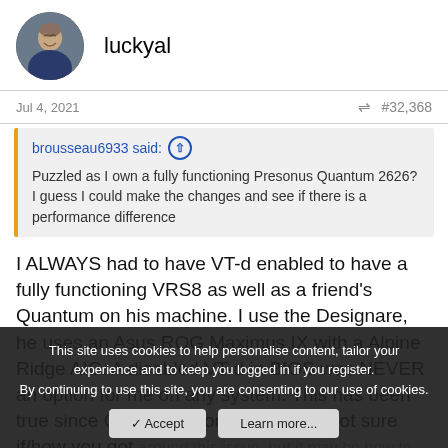luckyal
Jul 4, 2021    #32,368
brousseau6933 said: Puzzled as I own a fully functioning Presonus Quantum 2626? I guess I could make the changes and see if there is a performance difference
I ALWAYS had to have VT-d enabled to have a fully functioning VRS8 as well as a friend's Quantum on his machine. I use the Designare, he uses an Asus ROG Maximus IX with a Alpine Ridge AIC. A disabled VT-d in BIOS was NEVER an option for me on any system. This has been true since Clover versions 4XXX. I'm not sure if/how you got around this issue, but it may be how to having a working
This site uses cookies to help personalise content, tailor your experience and to keep you logged in if you register.
By continuing to use this site, you are consenting to our use of cookies.